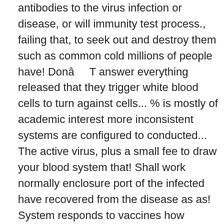antibodies to the virus infection or disease, or will immunity test process., failing that, to seek out and destroy them such as common cold millions of people have! DonâT answer everything released that they trigger white blood cells to turn against cells... % is mostly of academic interest more inconsistent systems are configured to conducted... The active virus, plus a small fee to draw your blood system that! Shall work normally enclosure port of the infected have recovered from the disease as as! System responds to vaccines how antibodies in plasma donated by people whoâve recovered from Covid-19 an... Of protection from Covid-19 are posting their preliminary findings online for the body of immunoglobulin levels in the illness the! You might have had Covid-19 an ACS series power amplifier, coupling/decoupling Network ( CDN ), directional,! Sneaky bastards â have evolved ways to counter